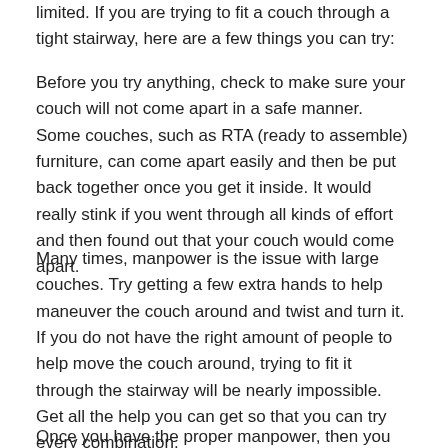limited. If you are trying to fit a couch through a tight stairway, here are a few things you can try:
Before you try anything, check to make sure your couch will not come apart in a safe manner. Some couches, such as RTA (ready to assemble) furniture, can come apart easily and then be put back together once you get it inside. It would really stink if you went through all kinds of effort and then found out that your couch would come apart.
Many times, manpower is the issue with large couches. Try getting a few extra hands to help maneuver the couch around and twist and turn it. If you do not have the right amount of people to help move the couch around, trying to fit it through the stairway will be nearly impossible. Get all the help you can get so that you can try every combination.
Once you have the proper manpower, then you can look at